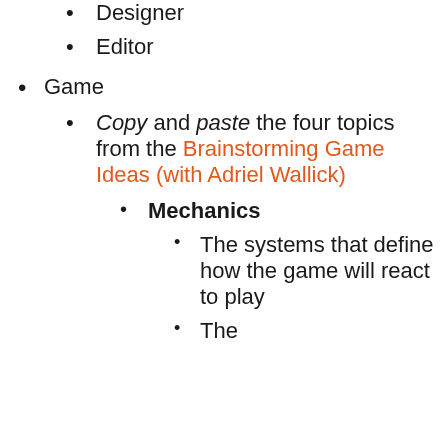Designer
Editor
Game
Copy and paste the four topics from the Brainstorming Game Ideas (with Adriel Wallick)
Mechanics
The systems that define how the game will react to play
The